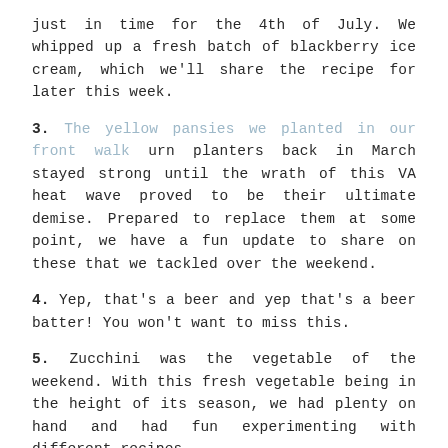just in time for the 4th of July. We whipped up a fresh batch of blackberry ice cream, which we'll share the recipe for later this week.
3. The yellow pansies we planted in our front walk urn planters back in March stayed strong until the wrath of this VA heat wave proved to be their ultimate demise. Prepared to replace them at some point, we have a fun update to share on these that we tackled over the weekend.
4. Yep, that's a beer and yep that's a beer batter! You won't want to miss this.
5. Zucchini was the vegetable of the weekend. With this fresh vegetable being in the height of its season, we had plenty on hand and had fun experimenting with different recipes – including zucchini fries and baked zucchini chips. All the details to come soon.